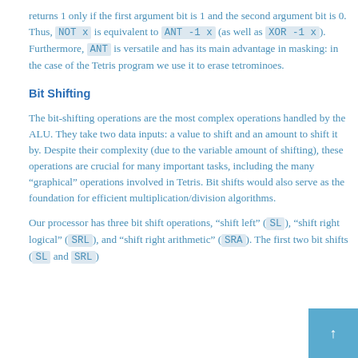returns 1 only if the first argument bit is 1 and the second argument bit is 0. Thus, NOT x is equivalent to ANT -1 x (as well as XOR -1 x). Furthermore, ANT is versatile and has its main advantage in masking: in the case of the Tetris program we use it to erase tetrominoes.
Bit Shifting
The bit-shifting operations are the most complex operations handled by the ALU. They take two data inputs: a value to shift and an amount to shift it by. Despite their complexity (due to the variable amount of shifting), these operations are crucial for many important tasks, including the many "graphical" operations involved in Tetris. Bit shifts would also serve as the foundation for efficient multiplication/division algorithms.
Our processor has three bit shift operations, "shift left" (SL), "shift right logical" (SRL), and "shift right arithmetic" (SRA). The first two bit shifts (SL and SRL)